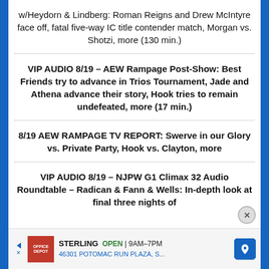w/Heydorn & Lindberg: Roman Reigns and Drew McIntyre face off, fatal five-way IC title contender match, Morgan vs. Shotzi, more (130 min.)
VIP AUDIO 8/19 – AEW Rampage Post-Show: Best Friends try to advance in Trios Tournament, Jade and Athena advance their story, Hook tries to remain undefeated, more (17 min.)
8/19 AEW RAMPAGE TV REPORT: Swerve in our Glory vs. Private Party, Hook vs. Clayton, more
VIP AUDIO 8/19 – NJPW G1 Climax 32 Audio Roundtable – Radican & Fann & Wells: In-depth look at final three nights of
[Figure (other): Advertisement banner for Sterling store: OPEN 9AM-7PM, 46301 POTOMAC RUN PLAZA, S...]